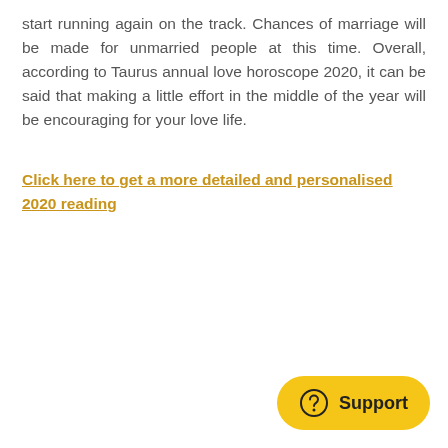start running again on the track. Chances of marriage will be made for unmarried people at this time. Overall, according to Taurus annual love horoscope 2020, it can be said that making a little effort in the middle of the year will be encouraging for your love life.
Click here to get a more detailed and personalised 2020 reading